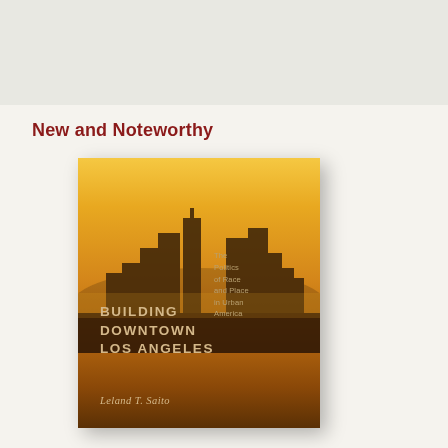New and Noteworthy
[Figure (photo): Book cover of 'Building Downtown Los Angeles: The Politics of Race and Place in Urban America' by Leland T. Saito. The cover shows a golden-hour silhouette of the Los Angeles downtown skyline against a warm amber sky.]